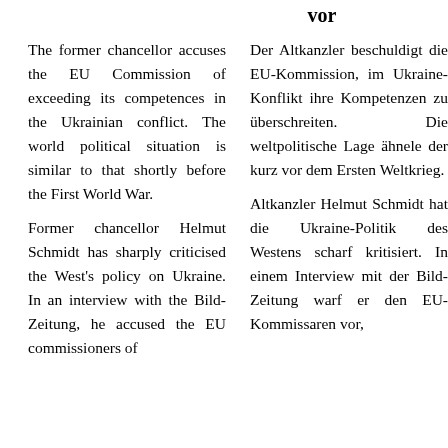vor
The former chancellor accuses the EU Commission of exceeding its competences in the Ukrainian conflict. The world political situation is similar to that shortly before the First World War.
Der Altkanzler beschuldigt die EU-Kommission, im Ukraine-Konflikt ihre Kompetenzen zu überschreiten. Die weltpolitische Lage ähnele der kurz vor dem Ersten Weltkrieg.
Former chancellor Helmut Schmidt has sharply criticised the West's policy on Ukraine. In an interview with the Bild-Zeitung, he accused the EU commissioners of
Altkanzler Helmut Schmidt hat die Ukraine-Politik des Westens scharf kritisiert. In einem Interview mit der Bild-Zeitung warf er den EU-Kommissaren vor,